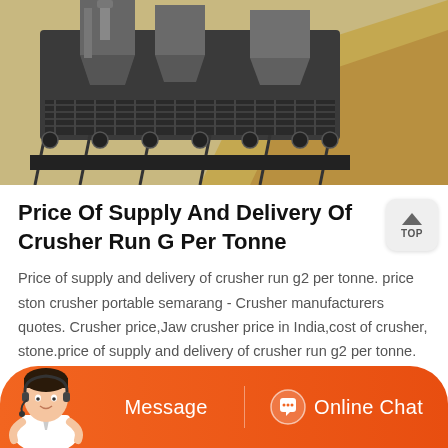[Figure (photo): Aerial or elevated view of a large industrial mining/crushing conveyor belt system with hoppers and machinery, set in a sandy/arid landscape.]
Price Of Supply And Delivery Of Crusher Run G Per Tonne
Price of supply and delivery of crusher run g2 per tonne. price stone crusher portable semarang - Crusher manufacturers quotes. Crusher price,Jaw crusher price in India,cost of crusher, stone.price of supply and delivery of crusher run g2 per tonne. robo sand crusher unit cost. mobile screening plant and crushing equipment in south africa.